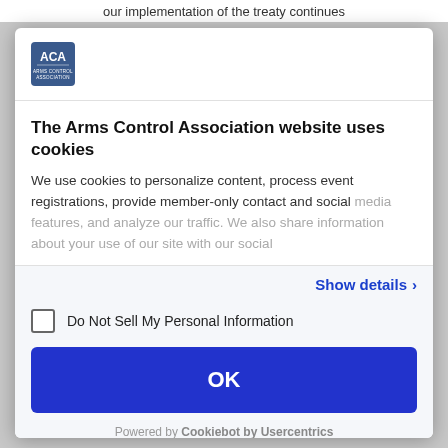our implementation of the treaty continues
[Figure (logo): ACA (Arms Control Association) logo - blue square with white text ACA]
The Arms Control Association website uses cookies
We use cookies to personalize content, process event registrations, provide member-only contact and social media features, and analyze our traffic. We also share information about your use of our site with our social
Show details ›
Do Not Sell My Personal Information
OK
Powered by Cookiebot by Usercentrics